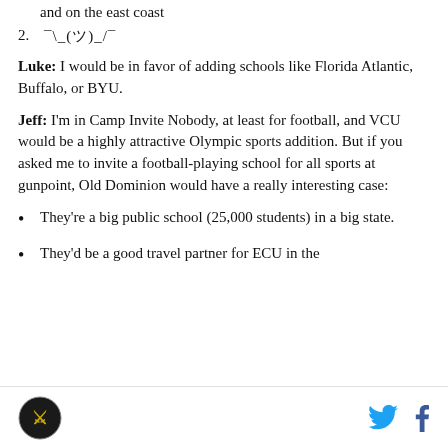and on the east coast
2. ¯\_(ツ)_/¯
Luke: I would be in favor of adding schools like Florida Atlantic, Buffalo, or BYU.
Jeff: I'm in Camp Invite Nobody, at least for football, and VCU would be a highly attractive Olympic sports addition. But if you asked me to invite a football-playing school for all sports at gunpoint, Old Dominion would have a really interesting case:
They're a big public school (25,000 students) in a big state.
They'd be a good travel partner for ECU in the